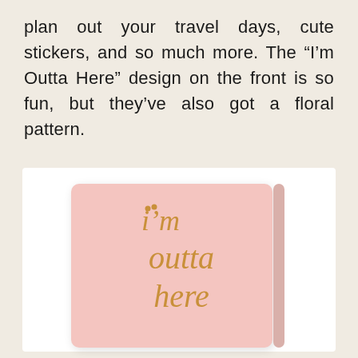plan out your travel days, cute stickers, and so much more. The “I’m Outta Here” design on the front is so fun, but they’ve also got a floral pattern.
[Figure (photo): A pink notebook/planner with a light pink cover and elastic band closure. The cover features gold cursive handwritten text reading 'i'm outta here'. The notebook is displayed against a white background.]